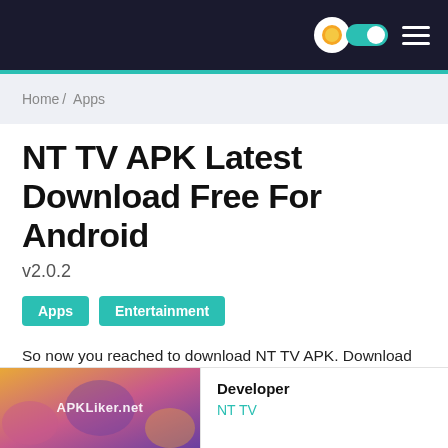NT TV APK - APKLiker.net
Home / Apps
NT TV APK Latest Download Free For Android
v2.0.2
Apps
Entertainment
So now you reached to download NT TV APK. Download and install the app file and enjoy all the premium video content from the Platforms in one place. This app is absolutely safe and 100% free to use.
[Figure (screenshot): App thumbnail with APKLiker.net watermark and colorful gradient background]
Developer
NT TV